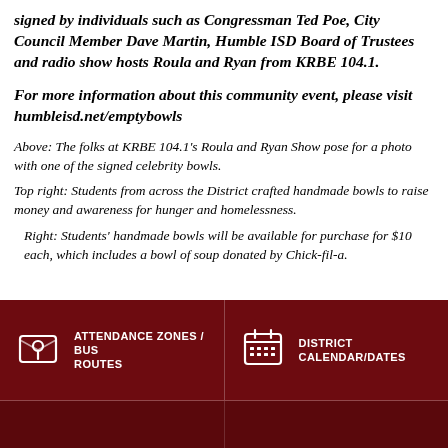signed by individuals such as Congressman Ted Poe, City Council Member Dave Martin, Humble ISD Board of Trustees and radio show hosts Roula and Ryan from KRBE 104.1.
For more information about this community event, please visit humbleisd.net/emptybowls
Above: The folks at KRBE 104.1's Roula and Ryan Show pose for a photo with one of the signed celebrity bowls.
Top right: Students from across the District crafted handmade bowls to raise money and awareness for hunger and homelessness.
Right: Students' handmade bowls will be available for purchase for $10 each, which includes a bowl of soup donated by Chick-fil-a.
[Figure (infographic): Dark red/maroon footer bar with two icon-label pairs: a location/envelope icon with 'ATTENDANCE ZONES / BUS ROUTES' and a calendar icon with 'DISTRICT CALENDAR/DATES', separated by a vertical line. Below is a darker maroon strip divided into two cells.]